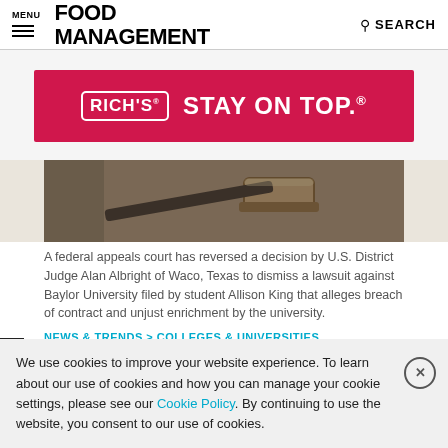MENU | FOOD MANAGEMENT | SEARCH
[Figure (photo): Rich's advertisement banner: red background with Rich's logo box and text 'STAY ON TOP.(R)']
[Figure (photo): Close-up photo of a judge's gavel on a wooden surface]
A federal appeals court has reversed a decision by U.S. District Judge Alan Albright of Waco, Texas to dismiss a lawsuit against Baylor University filed by student Allison King that alleges breach of contract and unjust enrichment by the university.
NEWS & TRENDS  >  COLLEGES & UNIVERSITIES
We use cookies to improve your website experience. To learn about our use of cookies and how you can manage your cookie settings, please see our Cookie Policy. By continuing to use the website, you consent to our use of cookies.